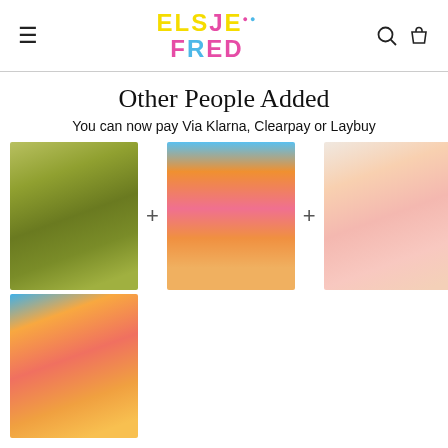Elsie Fred — navigation header with logo, search and bag icons
Other People Added
You can now pay Via Klarna, Clearpay or Laybuy
[Figure (photo): Grid of 4 fashion product photos separated by plus signs: olive green faux fur jacket outfit, orange/pink flared pants, orange/pink bikini top and bottoms, orange/pink mini skirt set]
This item: Marla Sateen Olive Green Faux Fur Collar